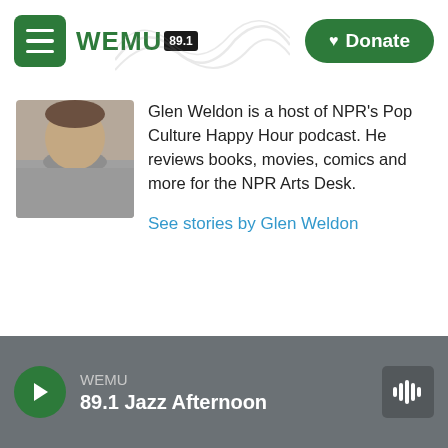WEMU 89.1 — Donate
[Figure (photo): Headshot of Glen Weldon, a person wearing a gray shirt, cropped to show shoulders and partial face]
Glen Weldon is a host of NPR's Pop Culture Happy Hour podcast. He reviews books, movies, comics and more for the NPR Arts Desk.
See stories by Glen Weldon
WEMU
89.1 Jazz Afternoon